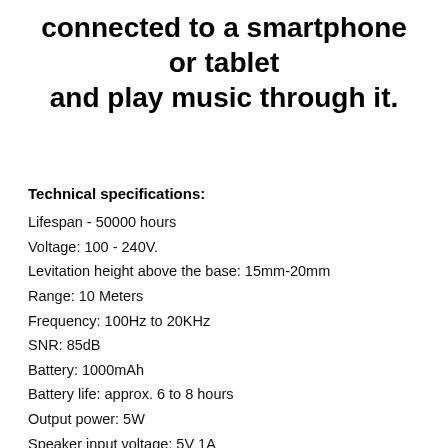connected to a smartphone or tablet and play music through it.
Technical specifications:
Lifespan - 50000 hours
Voltage: 100 - 240V.
Levitation height above the base: 15mm-20mm
Range: 10 Meters
Frequency: 100Hz to 20KHz
SNR: 85dB
Battery: 1000mAh
Battery life: approx. 6 to 8 hours
Output power: 5W
Speaker input voltage: 5V 1A